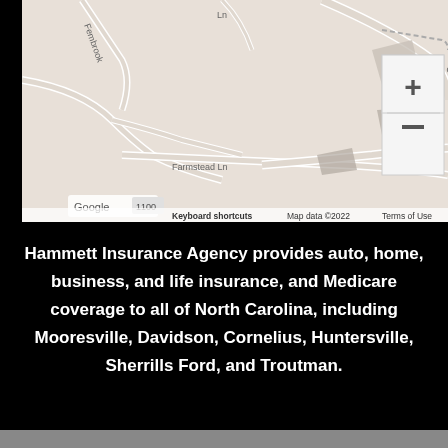[Figure (map): Google Maps screenshot showing streets including Charleston Dr, Farmstead Ln, Fernbrook area. Includes zoom controls (+/-) and Google branding. Map data ©2022. Shows 'Keyboard shortcuts', 'Map data ©2022', 'Terms of Use' footer.]
Hammett Insurance Agency provides auto, home, business, and life insurance, and Medicare coverage to all of North Carolina, including Mooresville, Davidson, Cornelius, Huntersville, Sherrills Ford, and Troutman.